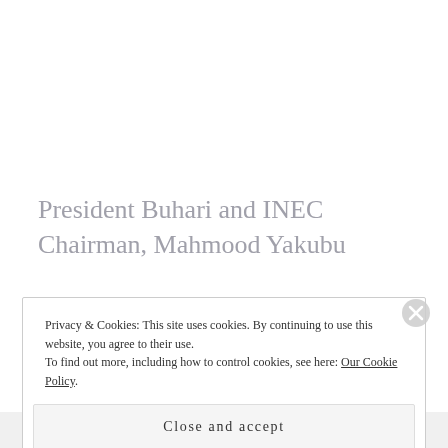President Buhari and INEC Chairman, Mahmood Yakubu
Privacy & Cookies: This site uses cookies. By continuing to use this website, you agree to their use.
To find out more, including how to control cookies, see here: Our Cookie Policy
Close and accept